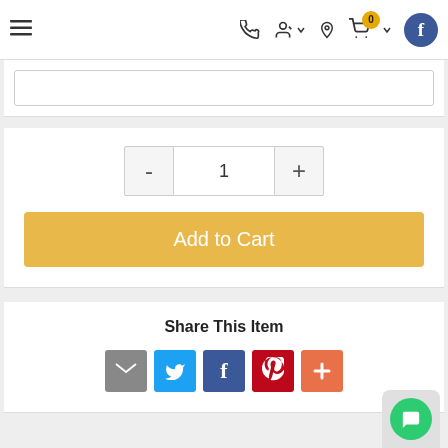[Figure (screenshot): E-commerce website navigation bar with hamburger menu, phone icon, user/account icon with dropdown, location pin icon, shopping cart with badge showing 0, dropdown arrow, and Facebook circular icon in dark blue]
[Figure (screenshot): Text input field (empty) in a white card section]
[Figure (screenshot): Quantity selector with minus button, quantity field showing 1, and plus button, above a gold/yellow Add to Cart button]
Add to Cart
Share This Item
[Figure (infographic): Row of social sharing icon buttons: email (grey envelope), Twitter (blue bird), Facebook (dark blue f), Pinterest (red P), and more/plus (orange-red +)]
OVERVIEW